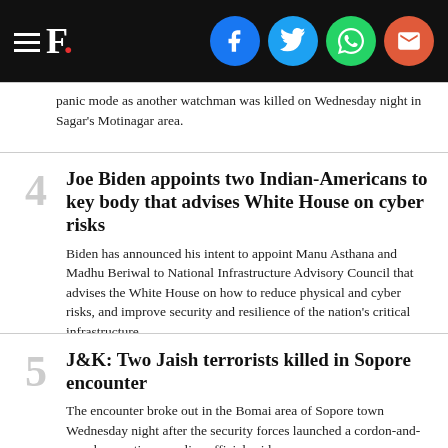F. [social icons: Facebook, Twitter, WhatsApp, Email]
panic mode as another watchman was killed on Wednesday night in Sagar's Motinagar area.
4  Joe Biden appoints two Indian-Americans to key body that advises White House on cyber risks
Biden has announced his intent to appoint Manu Asthana and Madhu Beriwal to National Infrastructure Advisory Council that advises the White House on how to reduce physical and cyber risks, and improve security and resilience of the nation's critical infrastructure.
5  J&K: Two Jaish terrorists killed in Sopore encounter
The encounter broke out in the Bomai area of Sopore town Wednesday night after the security forces launched a cordon-and-search operation, a police official said